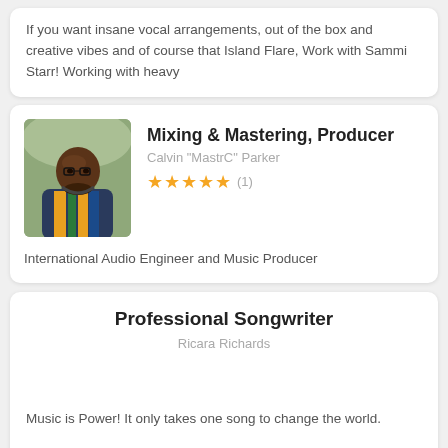If you want insane vocal arrangements, out of the box and creative vibes and of course that Island Flare, Work with Sammi Starr! Working with heavy
[Figure (photo): Portrait photo of Calvin 'MastrC' Parker, a man wearing a colorful vest outdoors]
Mixing & Mastering, Producer
Calvin "MastrC" Parker
★★★★★ (1)
International Audio Engineer and Music Producer
Professional Songwriter
Ricara Richards
Music is Power! It only takes one song to change the world.
Singer, Song Writer, Voiceover